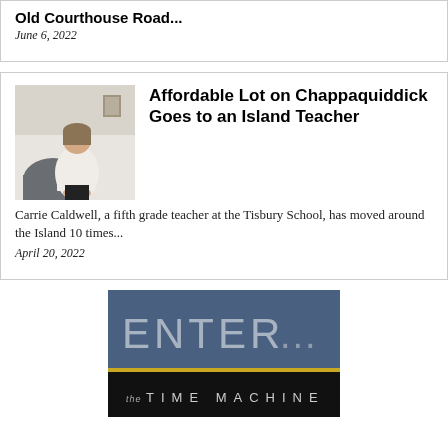Old Courthouse Road...
June 6, 2022
Affordable Lot on Chappaquiddick Goes to an Island Teacher
[Figure (photo): Photo of a woman seated in an office chair against a white wall]
Carrie Caldwell, a fifth grade teacher at the Tisbury School, has moved around the Island 10 times...
April 20, 2022
[Figure (logo): Advertisement banner reading ENTER... the TIME MACHINE with dark blue top half and black bottom half separated by a gold bar]